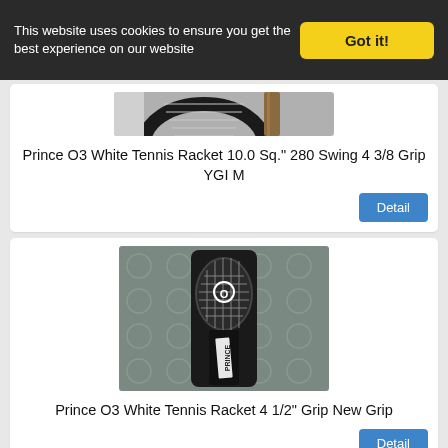This website uses cookies to ensure you get the best experience on our website | Got it!
[Figure (photo): Partial photo of a tennis racket, top portion cropped]
Prince O3 White Tennis Racket 10.0 Sq." 280 Swing 4 3/8 Grip YGI M
[Figure (photo): Photo of a black Prince tennis racket with cover/bag, lying on a patterned surface]
Prince O3 White Tennis Racket 4 1/2" Grip New Grip
[Figure (photo): Partial photo of a tennis racket head showing the frame and strings on a wooden surface]